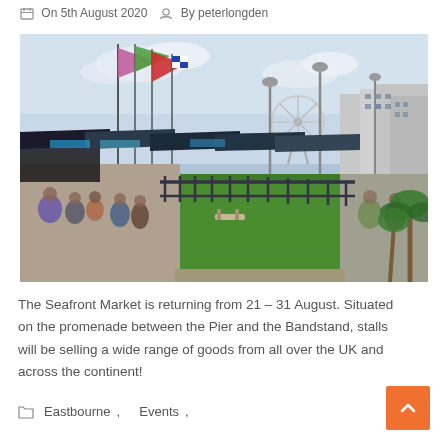On 5th August 2020  By peterlongden
[Figure (photo): Outdoor seafront market with colourful flags, market stalls, a ferris wheel in the background, green lawn strip in the centre, and seafront buildings on the right.]
The Seafront Market is returning from 21 – 31 August. Situated on the promenade between the Pier and the Bandstand, stalls will be selling a wide range of goods from all over the UK and across the continent!
Eastbourne,   Events,